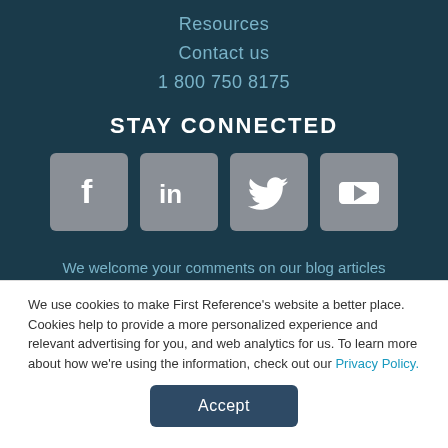Resources
Contact us
1 800 750 8175
STAY CONNECTED
[Figure (illustration): Four social media icon buttons: Facebook (f), LinkedIn (in), Twitter (bird), YouTube (play button), each in a grey rounded square on dark background]
We welcome your comments on our blog articles
We use cookies to make First Reference's website a better place. Cookies help to provide a more personalized experience and relevant advertising for you, and web analytics for us. To learn more about how we're using the information, check out our Privacy Policy.
Accept